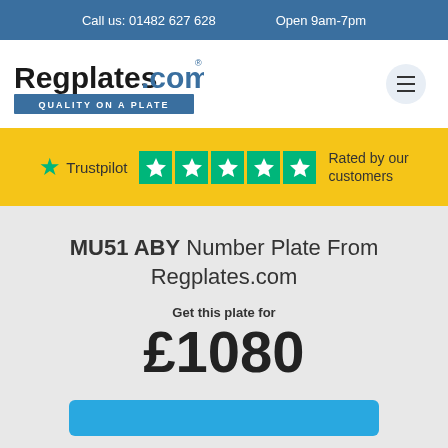Call us: 01482 627 628   Open 9am-7pm
[Figure (logo): Regplates.com logo with tagline 'QUALITY ON A PLATE' and hamburger menu icon]
[Figure (infographic): Trustpilot rating banner with 5 green stars and text 'Rated by our customers']
MU51 ABY Number Plate From Regplates.com
Get this plate for
£1080